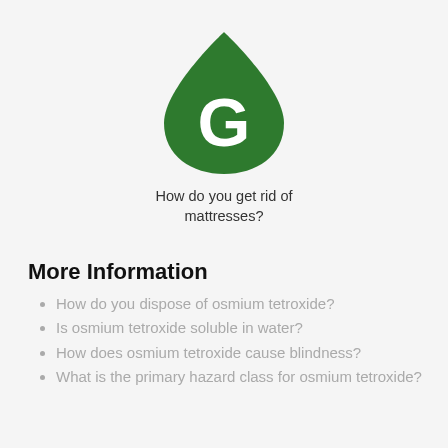[Figure (logo): Green teardrop/leaf shaped logo with a white letter G in the center]
How do you get rid of mattresses?
More Information
How do you dispose of osmium tetroxide?
Is osmium tetroxide soluble in water?
How does osmium tetroxide cause blindness?
What is the primary hazard class for osmium tetroxide?